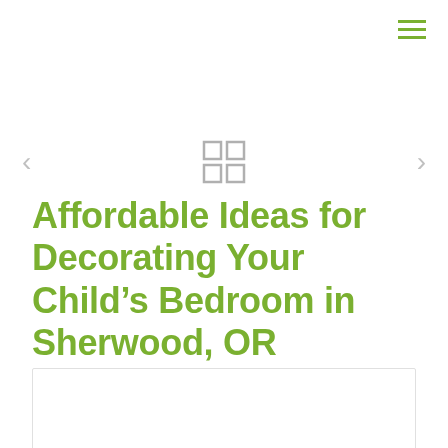hamburger menu icon
Affordable Ideas for Decorating Your Child’s Bedroom in Sherwood, OR
[Figure (other): White rectangular image placeholder area with light gray border]